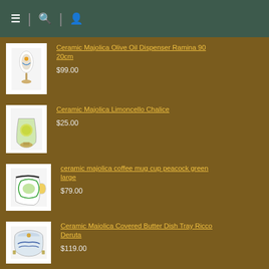Navigation bar with menu, search, and user icons
[Figure (photo): Ceramic Majolica Olive Oil Dispenser Ramina 90 20cm product thumbnail]
Ceramic Majolica Olive Oil Dispenser Ramina 90 20cm
$99.00
[Figure (photo): Ceramic Majolica Limoncello Chalice product thumbnail]
Ceramic Majolica Limoncello Chalice
$25.00
[Figure (photo): ceramic majolica coffee mug cup peacock green large product thumbnail]
ceramic majolica coffee mug cup peacock green large
$79.00
[Figure (photo): Ceramic Maiolica Covered Butter Dish Tray Ricco Deruta product thumbnail]
Ceramic Maiolica Covered Butter Dish Tray Ricco Deruta
$119.00
[Figure (photo): Ceramic Majolica Olive Oil Dispenser Green Black N 20cm product thumbnail]
Ceramic Majolica Olive Oil Dispenser Green Black N 20cm
$99.00